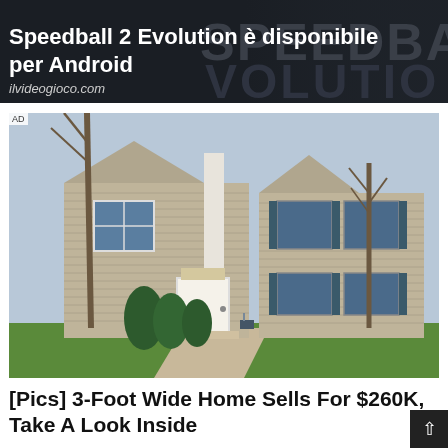[Figure (screenshot): Dark-themed banner image for Speedball 2 Evolution Android game. White bold text reads 'Speedball 2 Evolution è disponibile per Android' and below in smaller italic text 'ilvideogioco.com'. Background shows the game's dark logo/title art.]
[Figure (photo): Photograph of a two-story beige/tan sided house with white trim, decorative columns, front door with steps, evergreen shrubs, bare trees, and green lawn. AD label in top-left corner.]
[Pics] 3-Foot Wide Home Sells For $260K, Take A Look Inside